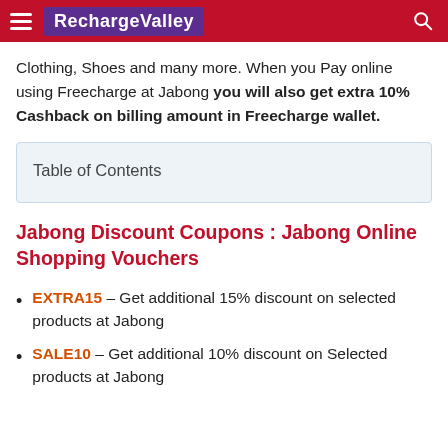RechargeValley
Clothing, Shoes and many more. When you Pay online using Freecharge at Jabong you will also get extra 10% Cashback on billing amount in Freecharge wallet.
Table of Contents
Jabong Discount Coupons : Jabong Online Shopping Vouchers
EXTRA15 – Get additional 15% discount on selected products at Jabong
SALE10 – Get additional 10% discount on Selected products at Jabong